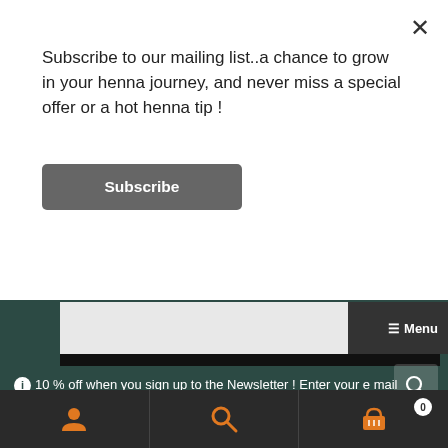Subscribe to our mailing list..a chance to grow in your henna journey, and never miss a special offer or a hot henna tip !
Subscribe
Menu
ℹ 10 % off when you sign up to the Newsletter ! Enter your e mail address in the sign up link towards the bottom of this page & remember to click the opt in link in the confirmation e mail (check junk mail).
Dismiss